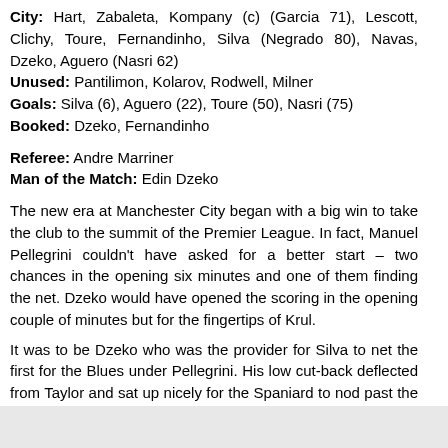City: Hart, Zabaleta, Kompany (c) (Garcia 71), Lescott, Clichy, Toure, Fernandinho, Silva (Negrado 80), Navas, Dzeko, Aguero (Nasri 62)
Unused: Pantilimon, Kolarov, Rodwell, Milner
Goals: Silva (6), Aguero (22), Toure (50), Nasri (75)
Booked: Dzeko, Fernandinho
Referee: Andre Marriner
Man of the Match: Edin Dzeko
The new era at Manchester City began with a big win to take the club to the summit of the Premier League. In fact, Manuel Pellegrini couldn't have asked for a better start – two chances in the opening six minutes and one of them finding the net. Dzeko would have opened the scoring in the opening couple of minutes but for the fingertips of Krul.
It was to be Dzeko who was the provider for Silva to net the first for the Blues under Pellegrini. His low cut-back deflected from Taylor and sat up nicely for the Spaniard to nod past the goalkeeper.
An equaliser wasn't really forthcoming, despite some Newcastle pressure. Hart in the City goal was unworked, facing just two decent strikes all game: Ben Arfa fired just over from range and Tiote had a driven effort plucked from the air by the City keeper. It was proba' going wide.